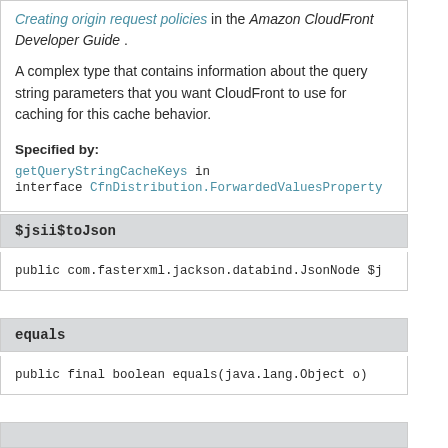Creating origin request policies in the Amazon CloudFront Developer Guide .
A complex type that contains information about the query string parameters that you want CloudFront to use for caching for this cache behavior.
Specified by:
getQueryStringCacheKeys in interface CfnDistribution.ForwardedValuesProperty
$jsii$toJson
public com.fasterxml.jackson.databind.JsonNode $j
equals
public final boolean equals(java.lang.Object o)